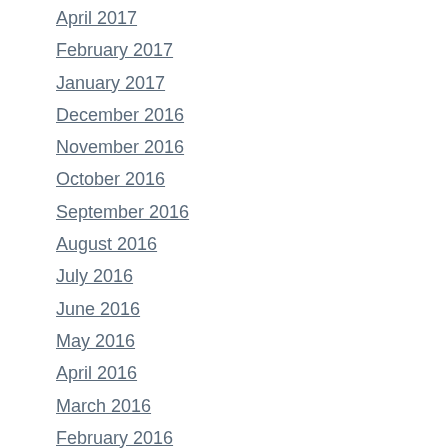April 2017
February 2017
January 2017
December 2016
November 2016
October 2016
September 2016
August 2016
July 2016
June 2016
May 2016
April 2016
March 2016
February 2016
January 2016
December 2015
November 2015
October 2015
September 2015